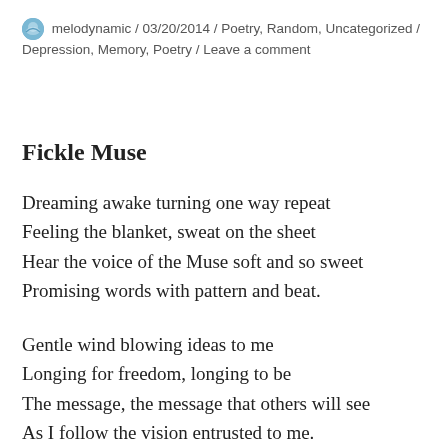melodynamic / 03/20/2014 / Poetry, Random, Uncategorized / Depression, Memory, Poetry / Leave a comment
Fickle Muse
Dreaming awake turning one way repeat
Feeling the blanket, sweat on the sheet
Hear the voice of the Muse soft and so sweet
Promising words with pattern and beat.
Gentle wind blowing ideas to me
Longing for freedom, longing to be
The message, the message that others will see
As I follow the vision entrusted to me.